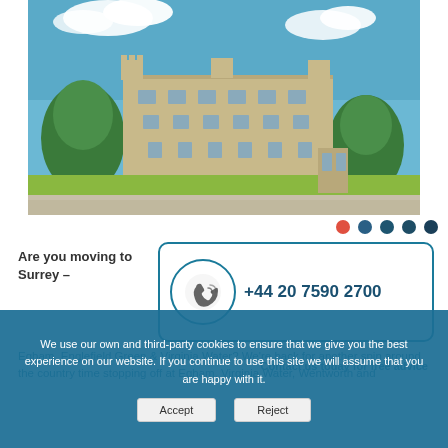[Figure (photo): Photograph of a large historic English manor or castle building with ornate architecture, manicured topiary hedges, blue sky with clouds, and a gravel forecourt.]
[Figure (other): Carousel navigation dots: one red dot and four dark blue dots.]
Are you moving to Surrey –
[Figure (other): Contact box with phone icon circle and phone number +44 20 7590 2700 inside a teal-bordered rounded rectangle.]
Egham, Englefield Green & Virginia Water? We're back for another spin around the country time stopping off at Egham, Virginia Water, Wentworth and
Contact us today for free advice
We use our own and third-party cookies to ensure that we give you the best experience on our website. If you continue to use this site we will assume that you are happy with it.